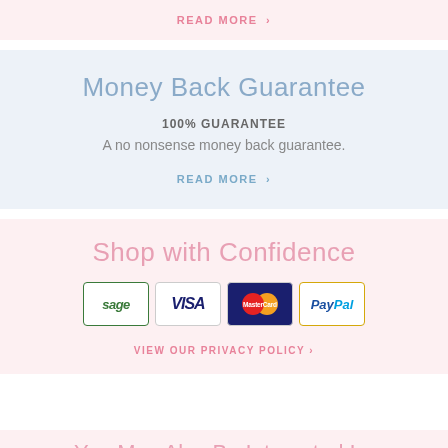READ MORE >
Money Back Guarantee
100% GUARANTEE
A no nonsense money back guarantee.
READ MORE >
Shop with Confidence
[Figure (logo): Payment method logos: Sage, Visa, MasterCard, PayPal]
VIEW OUR PRIVACY POLICY >
You May Also Be Interested In: